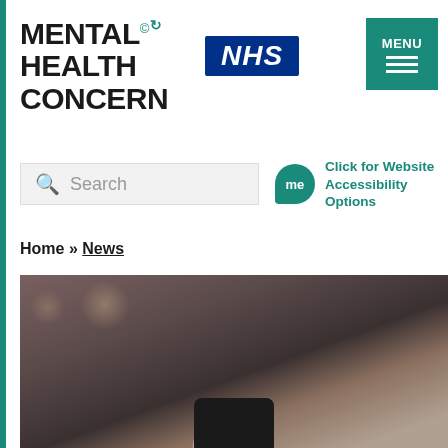[Figure (logo): Mental Health Concern logo with teal registered trademark symbol and circular arrow icon]
[Figure (logo): NHS logo — white italic text on dark blue background]
[Figure (other): Teal MENU button with three horizontal white lines (hamburger icon)]
Search
me  Click for Website Accessibility Options
Home » News
[Figure (photo): Close-up photo of a hand holding a smartphone against a blurred bokeh background]